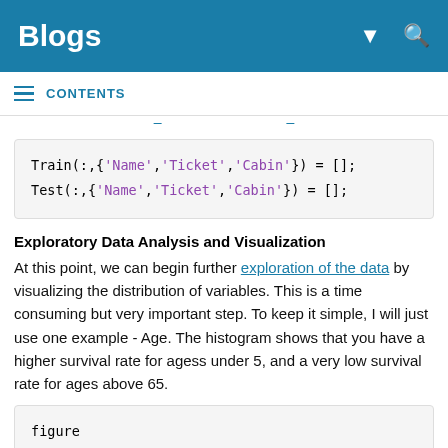Blogs
CONTENTS
Exploratory Data Analysis and Visualization
At this point, we can begin further exploration of the data by visualizing the distribution of variables. This is a time consuming but very important step. To keep it simple, I will just use one example - Age. The histogram shows that you have a higher survival rate for agess under 5, and a very low survival rate for ages above 65.